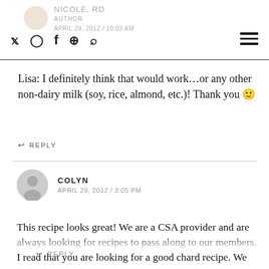Social icons header with navigation and APRIL 29, 2012 / 10:03 AM
Lisa: I definitely think that would work…or any other non-dairy milk (soy, rice, almond, etc.)! Thank you 🙂
↩ REPLY
COLYN
APRIL 29, 2012 / 3:05 PM
This recipe looks great! We are a CSA provider and are always looking for recipes to pass along to our members. I read that you are looking for a good chard recipe. We eat it in so many ways but my favorite is swiss chard pesto. Google it to find a reicpe, I found mine online it uses walnuts instead of pinenuts! So yummy!!
↩ REPLY